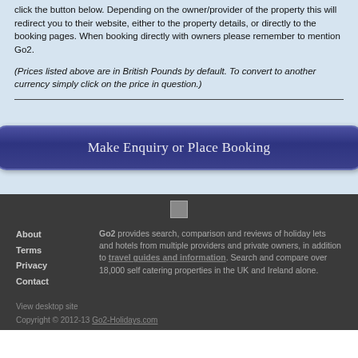click the button below. Depending on the owner/provider of the property this will redirect you to their website, either to the property details, or directly to the booking pages. When booking directly with owners please remember to mention Go2.
(Prices listed above are in British Pounds by default. To convert to another currency simply click on the price in question.)
[Figure (other): Make Enquiry or Place Booking button]
[Figure (logo): Small logo/image in footer area]
About
Terms
Privacy
Contact
Go2 provides search, comparison and reviews of holiday lets and hotels from multiple providers and private owners, in addition to travel guides and information. Search and compare over 18,000 self catering properties in the UK and Ireland alone.
View desktop site
Copyright © 2012-13 Go2-Holidays.com